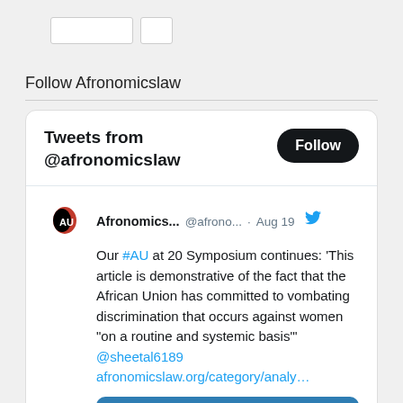Follow Afronomicslaw
[Figure (screenshot): Twitter/X widget showing tweets from @afronomicslaw with a Follow button and a tweet about the #AU at 20 Symposium discussing African Union's commitment to combating discrimination against women.]